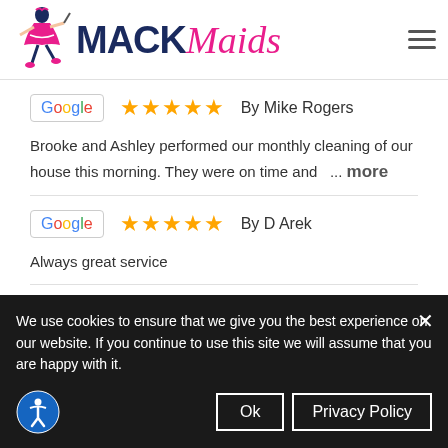MACK Maids
By Mike Rogers
Brooke and Ashley performed our monthly cleaning of our house this morning. They were on time and ... more
By D Arek
Always great service
We use cookies to ensure that we give you the best experience on our website. If you continue to use this site we will assume that you are happy with it.